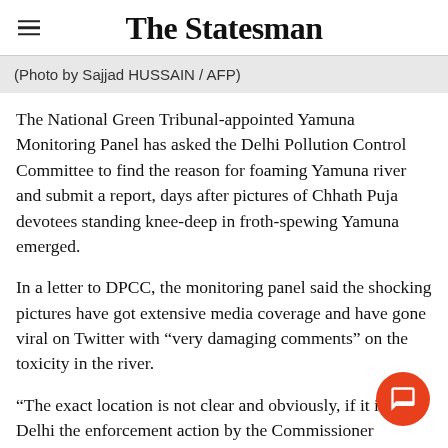The Statesman
(Photo by Sajjad HUSSAIN / AFP)
The National Green Tribunal-appointed Yamuna Monitoring Panel has asked the Delhi Pollution Control Committee to find the reason for foaming Yamuna river and submit a report, days after pictures of Chhath Puja devotees standing knee-deep in froth-spewing Yamuna emerged.
In a letter to DPCC, the monitoring panel said the shocking pictures have got extensive media coverage and have gone viral on Twitter with “very damaging comments” on the toxicity in the river.
“The exact location is not clear and obviously, if it is in Delhi the enforcement action by the Commissioner (Indus... the DPCC has been lax,” it said.